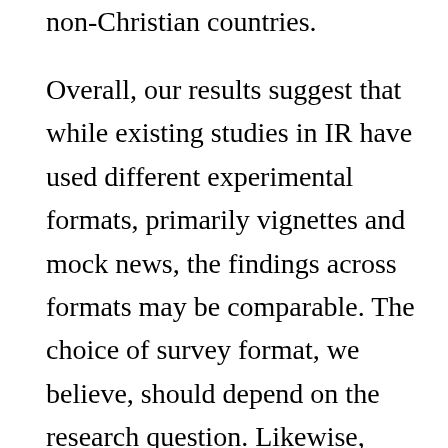non-Christian countries.
Overall, our results suggest that while existing studies in IR have used different experimental formats, primarily vignettes and mock news, the findings across formats may be comparable. The choice of survey format, we believe, should depend on the research question. Likewise, whether to account for confounders also depends on the research question. For example, scholars interested in understanding why regime influences support for war should control for confounders, whereas scholars focused on the effect of political labels on public opinion need not